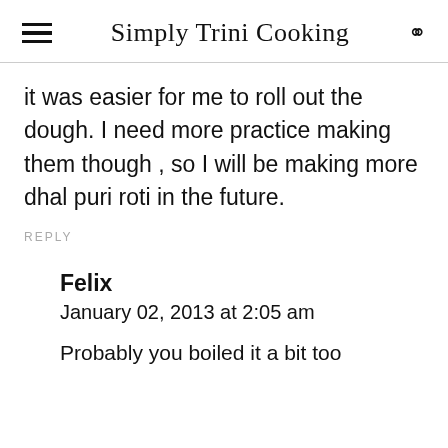Simply Trini Cooking
it was easier for me to roll out the dough. I need more practice making them though , so I will be making more dhal puri roti in the future.
REPLY
Felix
January 02, 2013 at 2:05 am
Probably you boiled it a bit too